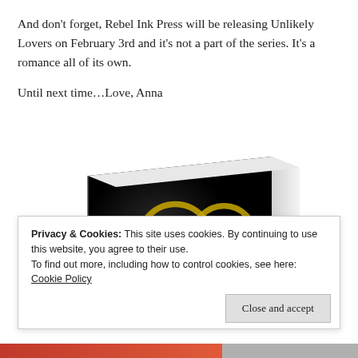And don't forget, Rebel Ink Press will be releasing Unlikely Lovers on February 3rd and it's not a part of the series. It's a romance all of its own.

Until next time...Love, Anna
[Figure (photo): A book tilted at an angle showing its front cover and spine. The cover is black with a gold infinity/heart symbol and the text 'CROSSROAD TO' in white at the bottom.]
Privacy & Cookies: This site uses cookies. By continuing to use this website, you agree to their use.
To find out more, including how to control cookies, see here:
Cookie Policy
Close and accept